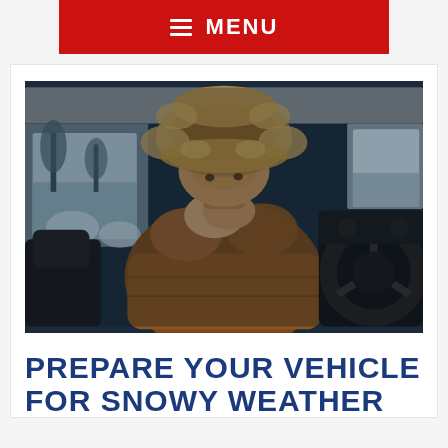≡ MENU
[Figure (photo): Person sitting in a cold car wearing a heavy fur-trimmed winter hat and brown puffer jacket, warming hands near face. Winter snowy scene visible through car windows. Steering wheel visible to the right.]
PREPARE YOUR VEHICLE FOR SNOWY WEATHER